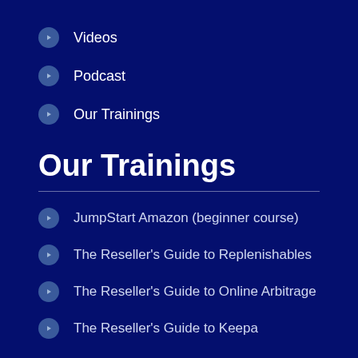Videos
Podcast
Our Trainings
Our Trainings
JumpStart Amazon (beginner course)
The Reseller's Guide to Replenishables
The Reseller's Guide to Online Arbitrage
The Reseller's Guide to Keepa